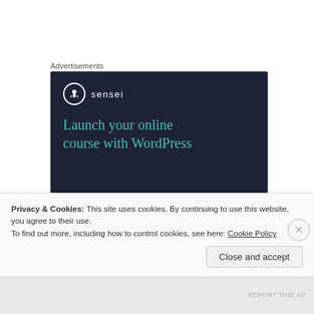Advertisements
[Figure (screenshot): Sensei advertisement banner with dark navy background. Shows Sensei logo (tree icon in circle) and text 'Launch your online course with WordPress' in teal color.]
Amirul Afiq
June 3, 2020 at 8:25 am
Privacy & Cookies: This site uses cookies. By continuing to use this website, you agree to their use.
To find out more, including how to control cookies, see here: Cookie Policy
Close and accept